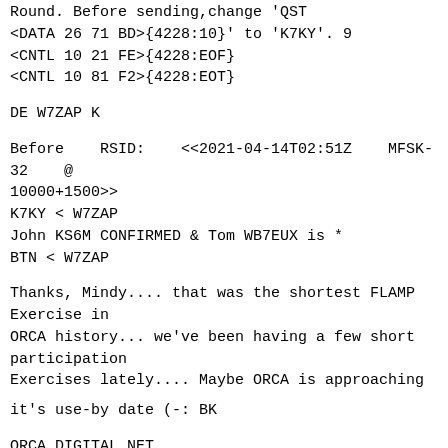Round. Before sending, change 'QST <DATA 26 71 BD>{4228:10}' to 'K7KY'. 9
<CNTL 10 21 FE>{4228:EOF}
<CNTL 10 81 F2>{4228:EOT}
DE W7ZAP K
Before    RSID:    <<2021-04-14T02:51Z    MFSK-32    @
10000+1500>>
K7KY < W7ZAP
John KS6M CONFIRMED & Tom WB7EUX is *
BTN < W7ZAP
Thanks, Mindy.... that was the shortest FLAMP Exercise in ORCA history... we've been having a few short participation Exercises lately.... Maybe ORCA is approaching
it's use-by date (-: BK
ORCA DIGITAL NET